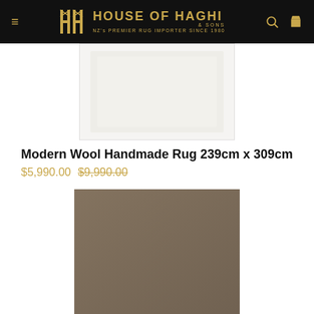House of Haghi & Sons — NZ's Premier Rug Importer Since 1980
[Figure (photo): Light coloured modern wool rug image, viewed from above, light/off-white tones with faint pattern]
Modern Wool Handmade Rug 239cm x 309cm
$5,990.00 $9,990.00
[Figure (photo): Close-up photo of a taupe/brown modern wool handmade rug showing texture]